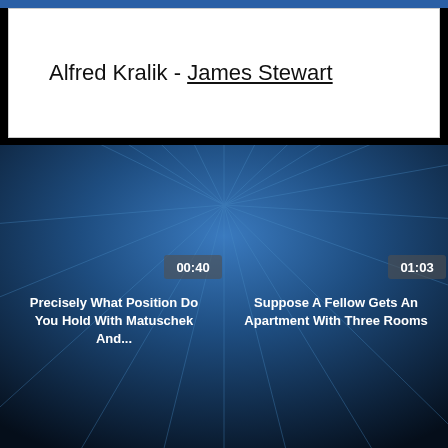Alfred Kralik - James Stewart
[Figure (screenshot): Dark blue radial sunburst background with two video clip thumbnails side by side. Left thumbnail shows duration badge '00:40' and title 'Precisely What Position Do You Hold With Matuschek And...'. Right thumbnail shows duration badge '01:03' and title 'Suppose A Fellow Gets An Apartment With Three Rooms'.]